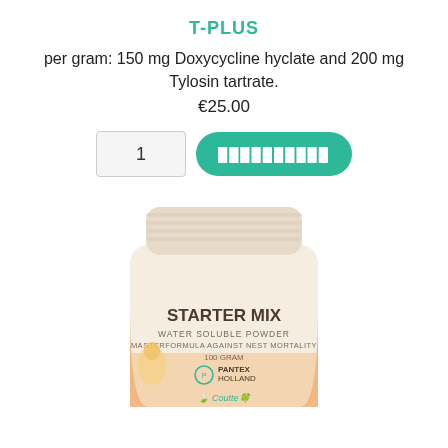T-PLUS
per gram: 150 mg Doxycycline hyclate and 200 mg Tylosin tartrate.
€25.00
[Figure (photo): A white plastic jar labeled 'STARTER MIX WATER SOLUBLE POWDER MASTERFORMULA AGAINST NEST MORTALITY 100 GRAM PANTEX HOLLAND' with orange accent design and bird imagery, and Coutteé branding at the bottom.]